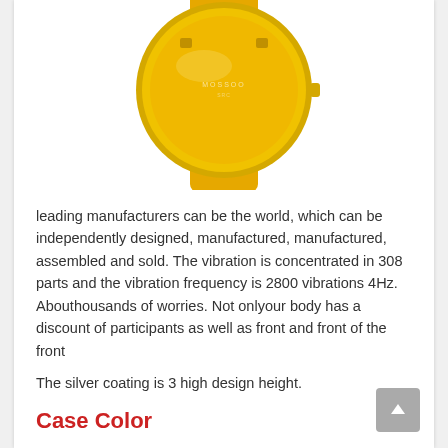[Figure (photo): A yellow smartwatch with a gold bezel and yellow leather strap, viewed from above, partially cropped at the top.]
leading manufacturers can be the world, which can be independently designed, manufactured, manufactured, assembled and sold. The vibration is concentrated in 308 parts and the vibration frequency is 2800 vibrations 4Hz. Abouthousands of worries. Not onlyour body has a discount of participants as well as front and front of the front
The silver coating is 3 high design height.
Case Color